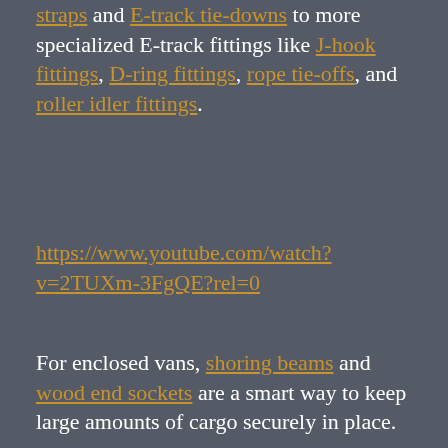straps and E-track tie-downs to more specialized E-track fittings like J-hook fittings, D-ring fittings, rope tie-offs, and roller idler fittings.
https://www.youtube.com/watch?v=2TUXm-3FgQE?rel=0
For enclosed vans, shoring beams and wood end sockets are a smart way to keep large amounts of cargo securely in place.